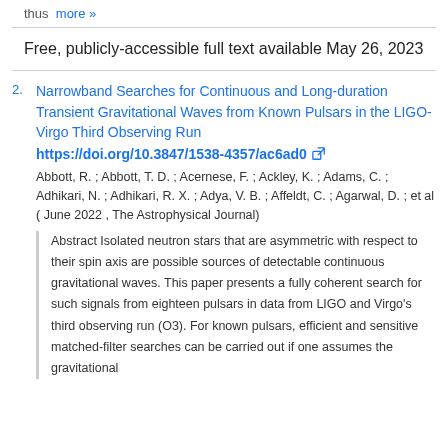thus  more »
Free, publicly-accessible full text available May 26, 2023
2. Narrowband Searches for Continuous and Long-duration Transient Gravitational Waves from Known Pulsars in the LIGO-Virgo Third Observing Run
https://doi.org/10.3847/1538-4357/ac6ad0
Abbott, R. ; Abbott, T. D. ; Acernese, F. ; Ackley, K. ; Adams, C. ; Adhikari, N. ; Adhikari, R. X. ; Adya, V. B. ; Affeldt, C. ; Agarwal, D. ; et al ( June 2022 , The Astrophysical Journal)
Abstract Isolated neutron stars that are asymmetric with respect to their spin axis are possible sources of detectable continuous gravitational waves. This paper presents a fully coherent search for such signals from eighteen pulsars in data from LIGO and Virgo's third observing run (O3). For known pulsars, efficient and sensitive matched-filter searches can be carried out if one assumes the gravitational